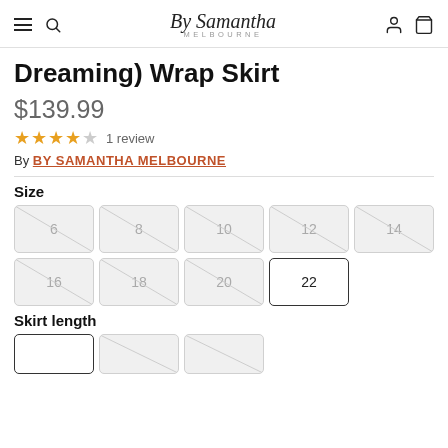By Samantha MELBOURNE
Dreaming) Wrap Skirt
$139.99
★★★★☆  1 review
By BY SAMANTHA MELBOURNE
Size
6, 8, 10, 12, 14, 16, 18, 20, 22
Skirt length